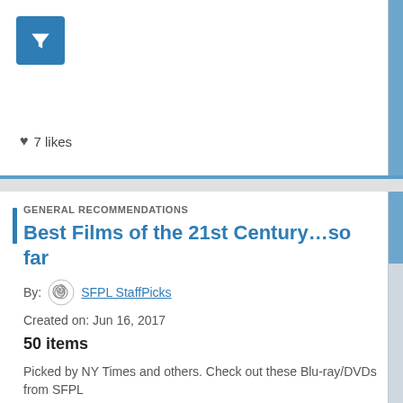[Figure (screenshot): Blue filter icon button in top-left of first card]
♥ 7 likes
GENERAL RECOMMENDATIONS
Best Films of the 21st Century…so far
By: SFPL StaffPicks
Created on: Jun 16, 2017
50 items
Picked by NY Times and others. Check out these Blu-ray/DVDs from SFPL